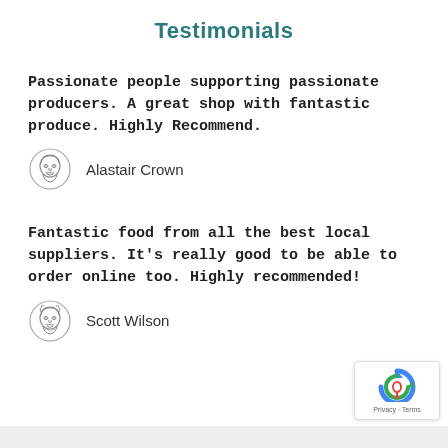Testimonials
Passionate people supporting passionate producers. A great shop with fantastic produce. Highly Recommend.
Alastair Crown
Fantastic food from all the best local suppliers. It's really good to be able to order online too. Highly recommended!
Scott Wilson